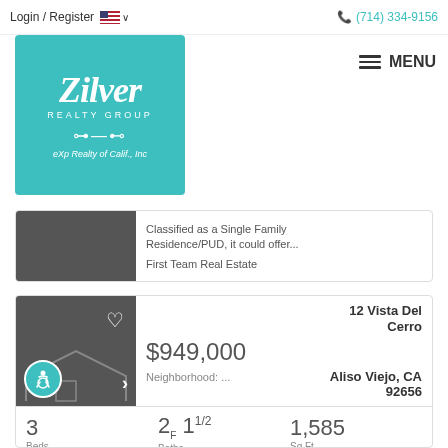Login / Register  (714) 334-9156
[Figure (logo): Zilver Realty Group - eXp Realty of Calif., Inc logo on teal background]
Classified as a Single Family Residence/PUD, it could offer...
First Team Real Estate
12 Vista Del Cerro
$949,000
Neighborhood: ...
Aliso Viejo, CA 92656
3 Beds  2F 11/2 Baths  1,585 Sq.Ft.
1997 Year Built  5 Days on  OC221656 MLS